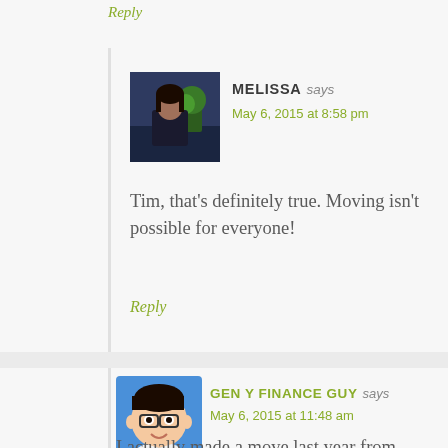Reply
[Figure (photo): Avatar photo of Melissa, a woman with dark hair in front of a green plant]
MELISSA says
May 6, 2015 at 8:58 pm
Tim, that's definitely true. Moving isn't possible for everyone!
Reply
[Figure (illustration): Cartoon avatar of Gen Y Finance Guy, illustrated character with dark hair and glasses on blue background]
GEN Y FINANCE GUY says
May 6, 2015 at 11:48 am
I actually made a move last year from